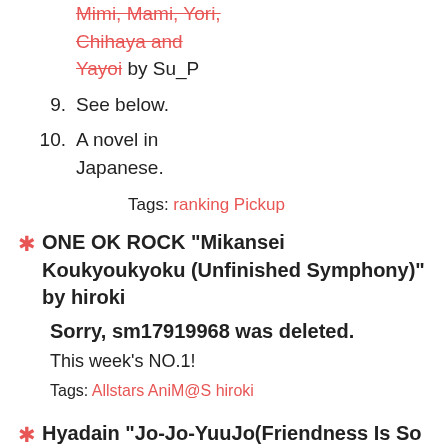Chihaya and Yayoi by Su_P
9. See below.
10. A novel in Japanese.
Tags: ranking Pickup
ONE OK ROCK "Mikansei Koukyoukyoku (Unfinished Symphony)" by hiroki
Sorry, sm17919968 was deleted.
This week's NO.1!
Tags: Allstars AniM@S hiroki
Hyadain "Jo-Jo-YuuJo(Friendness Is So Good)" by KosukeP